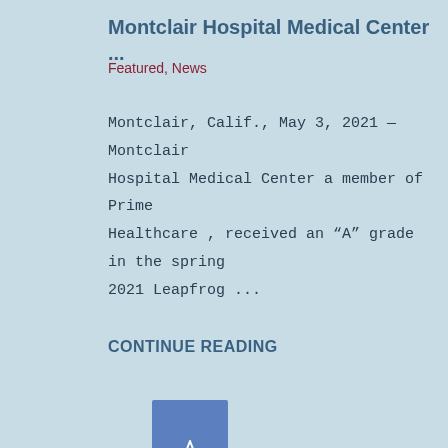Montclair Hospital Medical Center …
Featured, News
Montclair, Calif., May 3, 2021 — Montclair Hospital Medical Center a member of Prime Healthcare , received an “A” grade in the spring 2021 Leapfrog …
CONTINUE READING
[Figure (illustration): Blue bookmark icon with a star outline in the center]